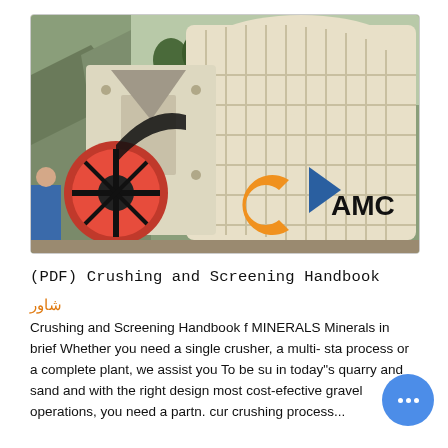[Figure (photo): Photograph of a large industrial jaw crusher / impact crusher machine, cream/beige colored, with a large red flywheel visible on the left side and a ribbed arched housing structure. The AMC logo (orange C shape with blue triangle and black AMC text) is overlaid in the lower right. Background shows rocky outdoor setting.]
(PDF) Crushing and Screening Handbook
شاور
Crushing and Screening Handbook f MINERALS Minerals in brief Whether you need a single crusher, a multi- sta process or a complete plant, we assist you To be su in today"s quarry and sand and with the right design most cost-efective gravel operations, you need a partr. cur crushing process...